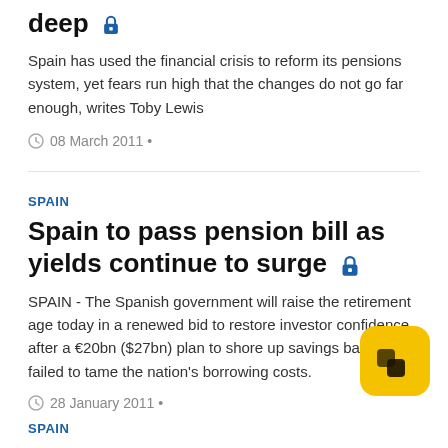deep 🔒
Spain has used the financial crisis to reform its pensions system, yet fears run high that the changes do not go far enough, writes Toby Lewis
08 March 2011 •
SPAIN
Spain to pass pension bill as yields continue to surge 🔒
SPAIN - The Spanish government will raise the retirement age today in a renewed bid to restore investor confidence after a €20bn ($27bn) plan to shore up savings banks failed to tame the nation's borrowing costs.
28 January 2011 •
SPAIN